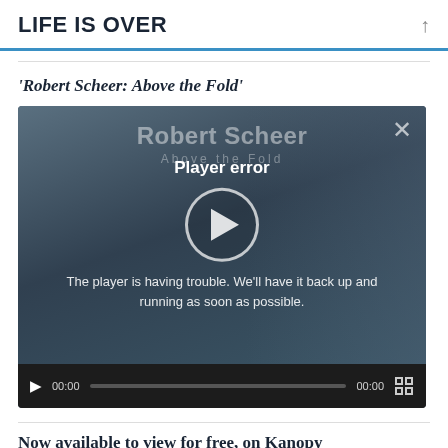LIFE IS OVER
'Robert Scheer: Above the Fold'
[Figure (screenshot): Video player showing 'Robert Scheer: Above the Fold' with a player error message. The player displays 'Player error' and text 'The player is having trouble. We'll have it back up and running as soon as possible.' with a play button overlay. Video controls show 00:00 timestamps and a progress bar.]
Now available to view for free, on Kanopy